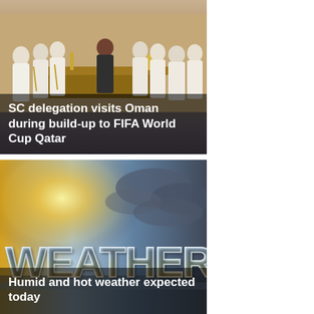[Figure (photo): Photo of SC delegation visiting Oman, showing robed figures at a ceremonial gathering. Overlaid with white bold headline text on dark semi-transparent background.]
[Figure (photo): Weather graphic showing sun on left and cloudy sky on right with large stylized 'WEATHER' text. Overlaid with white bold headline on dark semi-transparent background.]